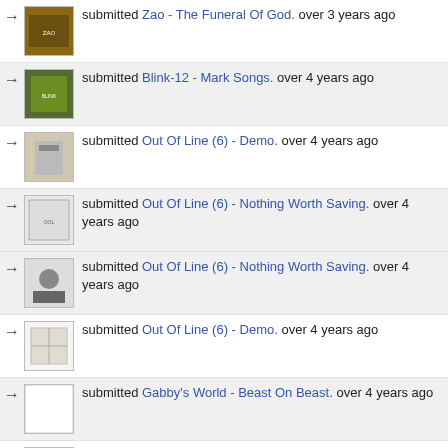submitted Zao - The Funeral Of God. over 3 years ago
submitted Blink-12 - Mark Songs. over 4 years ago
submitted Out Of Line (6) - Demo. over 4 years ago
submitted Out Of Line (6) - Nothing Worth Saving. over 4 years ago
submitted Out Of Line (6) - Nothing Worth Saving. over 4 years ago
submitted Out Of Line (6) - Demo. over 4 years ago
submitted Gabby's World - Beast On Beast. over 4 years ago
submitted Charles Albright - Everything Went Charles Albright / The First Four Years. over 4 years ago
submitted Occlith - Obscure Heresies. over 4 years ago
submitted Occlith - Obscure Heresies. over 4 years ago
submitted Touché Amoré - Green. over 4 years ago
submitted Battle Hag - Tongue Of The Earth. over 4 years ago